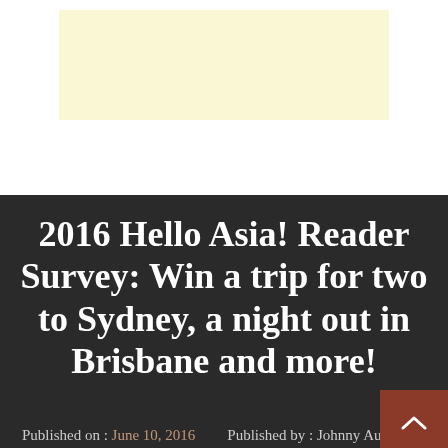[Figure (other): Light yellow/cream colored rectangle banner area at top of page]
2016 Hello Asia! Reader Survey: Win a trip for two to Sydney, a night out in Brisbane and more!
Published on : June 10, 2016    Published by : Johnny Au